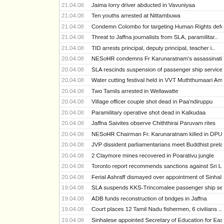21.04.08 Jaima lorry driver abducted in Vavuniyaa
21.04.08 Ten youths arrested at Nittambuwa
21.04.08 Condemn Colombo for targeting Human Rights defen..
21.04.08 Threat to Jaffna journalists from SLA, paramilitar..
21.04.08 TID arrests principal, deputy principal, teacher i..
20.04.08 NESoHR condemns Fr Karunaratnam's assassination
20.04.08 SLA rescinds suspension of passenger ship service
20.04.08 Water cutting festival held in VVT Muththumaari Am..
20.04.08 Two Tamils arrested in Wellawatte
20.04.08 Village officer couple shot dead in Paa'ndiruppu
20.04.08 Paramilitary operative shot dead in Kalkudaa
20.04.08 Jaffna Saivites observe Chiththirai Paruvam rites
20.04.08 NESoHR Chairman Fr. Karunaratnam killed in DPU a..
20.04.08 JVP dissident parliamentarians meet Buddhist prela..
20.04.08 2 Claymore mines recovered in Poarativu jungle
20.04.08 Toronto report recommends sanctions against Sri La..
20.04.08 Ferial Ashraff dismayed over appointment of Sinhal..
19.04.08 SLA suspends KKS-Trincomalee passenger ship serv..
19.04.08 ADB funds reconstruction of bridges in Jaffna
19.04.08 Court places 12 Tamil Nadu fishermen, 6 civilians ..
19.04.08 Sinhalese appointed Secretary of Education for Eas..
19.04.08 Special team conducting inquiries into Jeyaraj kil..
19.04.08 Claymore attack injures policeman in Thampalakaama
19.04.08 34 security personnel killed, 236 injured in 17 da..
19.04.08 Tamil woman arrested at politico's funeral in Ratn..
19.04.08 Court orders inquiry into SLA soldier's death
19.04.08 UNP cancels May Day rally citing security reasons